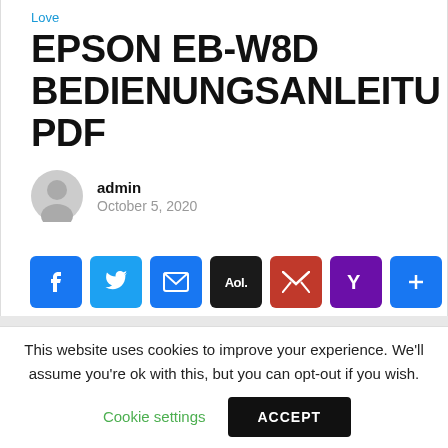Love
EPSON EB-W8D BEDIENUNGSANLEITU PDF
admin
October 5, 2020
[Figure (other): Social share buttons: Facebook, Twitter, Email, AOL, Gmail, Yahoo, More]
This website uses cookies to improve your experience. We'll assume you're ok with this, but you can opt-out if you wish.
Cookie settings  ACCEPT